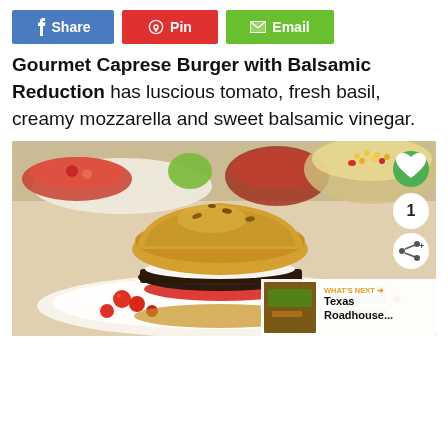Share
Pin
Email
Gourmet Caprese Burger with Balsamic Reduction has luscious tomato, fresh basil, creamy mozzarella and sweet balsamic vinegar.
[Figure (photo): A gourmet caprese burger with balsamic reduction on a plate, with a toasted bun, green basil pesto, white mozzarella, dark beef patty, and tomato salsa, alongside a corn and vegetable side salad in background. Includes heart/favorite icon overlay, share count of 1, and a 'What's Next: Texas Roadhouse...' banner in lower right.]